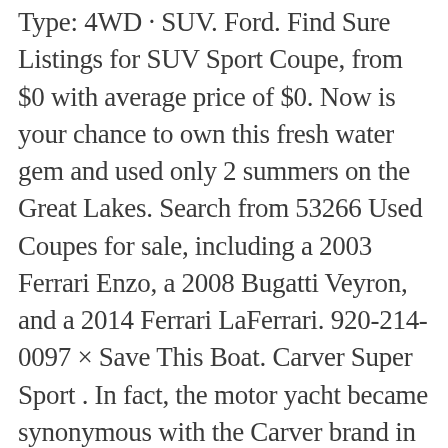Type: 4WD · SUV. Ford. Find Sure Listings for SUV Sport Coupe, from $0 with average price of $0. Now is your chance to own this fresh water gem and used only 2 summers on the Great Lakes. Search from 53266 Used Coupes for sale, including a 2003 Ferrari Enzo, a 2008 Bugatti Veyron, and a 2014 Ferrari LaFerrari. 920-214-0097 × Save This Boat. Carver Super Sport . In fact, the motor yacht became synonymous with the Carver brand in the early 1990s. Advertisement. The Mercruiser 6.2L engines put 320HP each via the Bravo 3 drives and Axius Joystick control that make docking a breeze. 425-528-8859 × Save This Boat. Carver 380 Express . Alert me of new listings matching this search Modify Search [26 Boats Found] Sort By: Showing: All New and Used Carver Boats for Sale in Ontario . Research, compare and save listings, or contact sellers directly from 1 2008 G37 models nationwide. 1. Go. 1993. Our Crew Mission Statement Community Involyment Careers. View new